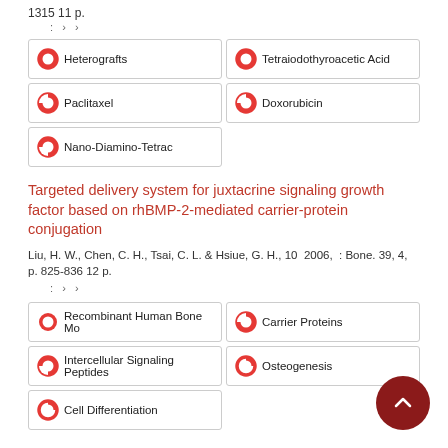1315 11 p.
: › ›
Heterografts
Tetraiodothyroacetic Acid
Paclitaxel
Doxorubicin
Nano-Diamino-Tetrac
Targeted delivery system for juxtacrine signaling growth factor based on rhBMP-2-mediated carrier-protein conjugation
Liu, H. W., Chen, C. H., Tsai, C. L. & Hsiue, G. H., 10 2006, : Bone. 39, 4, p. 825-836 12 p.
: › ›
Recombinant Human Bone Mo
Carrier Proteins
Intercellular Signaling Peptides
Osteogenesis
Cell Differentiation